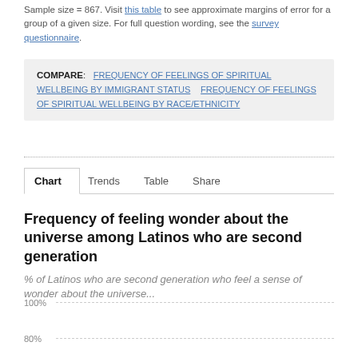Sample size = 867. Visit this table to see approximate margins of error for a group of a given size. For full question wording, see the survey questionnaire.
COMPARE: FREQUENCY OF FEELINGS OF SPIRITUAL WELLBEING BY IMMIGRANT STATUS   FREQUENCY OF FEELINGS OF SPIRITUAL WELLBEING BY RACE/ETHNICITY
Chart   Trends   Table   Share
Frequency of feeling wonder about the universe among Latinos who are second generation
% of Latinos who are second generation who feel a sense of wonder about the universe...
[Figure (continuous-plot): Partial bar chart showing frequency of feeling wonder about the universe among second generation Latinos. Y-axis shows 100% and 80% gridlines visible. Chart is cut off at bottom of page.]